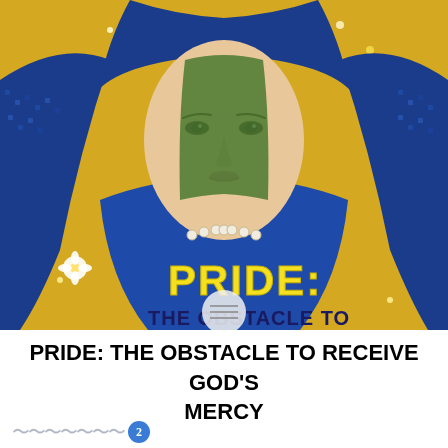[Figure (illustration): Bejeweled mosaic icon-style image of the Virgin Mary wearing a blue mantle with gold halo, decorated with colorful rhinestones/beads. Text 'PRIDE:' overlaid in yellow and partial subtitle text visible at the bottom of the image.]
PRIDE: THE OBSTACLE TO RECEIVE GOD'S MERCY